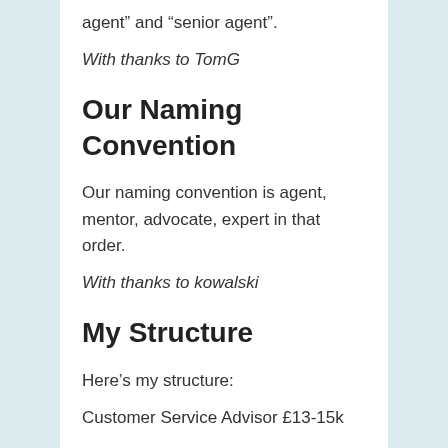agent” and “senior agent”.
With thanks to TomG
Our Naming Convention
Our naming convention is agent, mentor, advocate, expert in that order.
With thanks to kowalski
My Structure
Here’s my structure:
Customer Service Advisor £13-15k